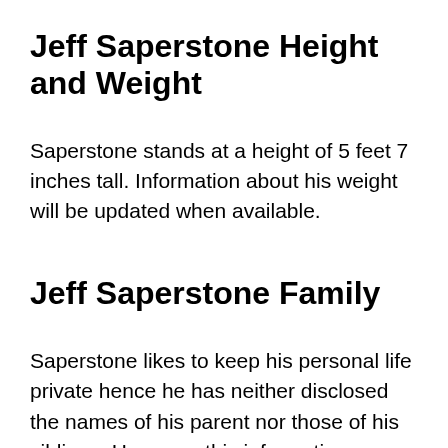Jeff Saperstone Height and Weight
Saperstone stands at a height of 5 feet 7 inches tall. Information about his weight will be updated when available.
Jeff Saperstone Family
Saperstone likes to keep his personal life private hence he has neither disclosed the names of his parent nor those of his siblings. However, this information